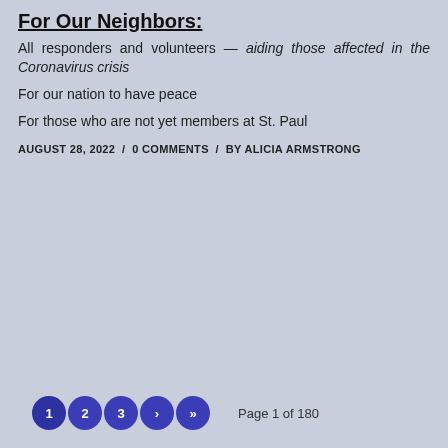For Our Neighbors:
All responders and volunteers — aiding those affected in the Coronavirus crisis
For our nation to have peace
For those who are not yet members at St. Paul
AUGUST 28, 2022 / 0 COMMENTS / BY ALICIA ARMSTRONG
1 2 3 › » Page 1 of 180